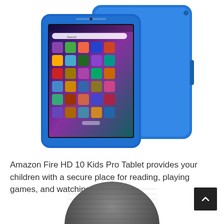[Figure (photo): Amazon Fire HD 10 Kids Pro Tablet shown from front and back, in blue protective case with app icons visible on screen]
Amazon Fire HD 10 Kids Pro Tablet provides your children with a secure place for reading, playing games, and watching movies.
[Figure (photo): Top portion of a dark grey smart speaker (likely Google Nest Mini or Amazon Echo Dot) visible at bottom of page]